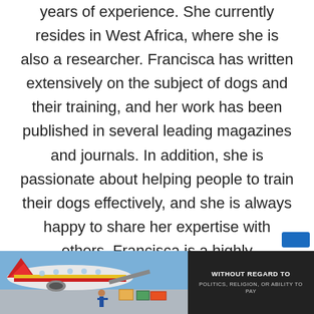years of experience. She currently resides in West Africa, where she is also a researcher. Francisca has written extensively on the subject of dogs and their training, and her work has been published in several leading magazines and journals. In addition, she is passionate about helping people to train their dogs effectively, and she is always happy to share her expertise with others. Francisca is a highly experienced and qualified dog trainer who is dedicated to helping her clients achieve success with their pets.
[Figure (infographic): Advertisement banner showing an airplane being loaded with cargo at an airport, with a dark panel on the right reading 'WITHOUT REGARD TO POLITICS, RELIGION, OR ABILITY TO PAY']